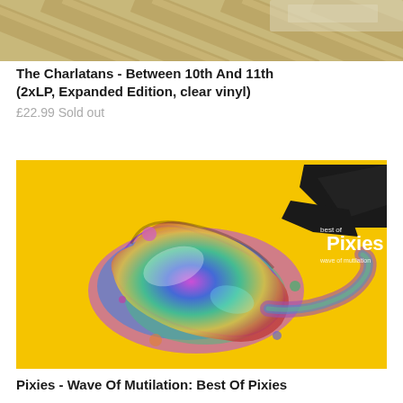[Figure (photo): Partial view of a vinyl record album cover from above, showing wooden/textured background in tan and grey tones]
The Charlatans - Between 10th And 11th (2xLP, Expanded Edition, clear vinyl)
£22.99 Sold out
[Figure (photo): Pixies - Wave Of Mutilation: Best Of Pixies album cover. Bright yellow background with a colorful iridescent liquid splash shape in the center. Black angular brushstroke design in upper right with white text reading 'best of Pixies wave of mutilation']
Pixies - Wave Of Mutilation: Best Of Pixies